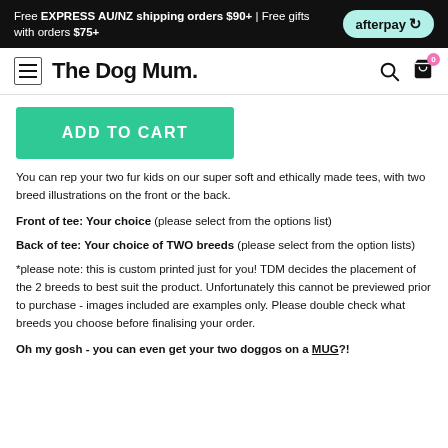Free EXPRESS AU/NZ shipping orders $90+ | Free gifts with orders $75+
The Dog Mum.
ADD TO CART
You can rep your two fur kids on our super soft and ethically made tees, with two breed illustrations on the front or the back.
Front of tee: Your choice (please select from the options list)
Back of tee: Your choice of TWO breeds (please select from the option lists)
*please note: this is custom printed just for you! TDM decides the placement of the 2 breeds to best suit the product. Unfortunately this cannot be previewed prior to purchase - images included are examples only. Please double check what breeds you choose before finalising your order.
Oh my gosh - you can even get your two doggos on a MUG?!